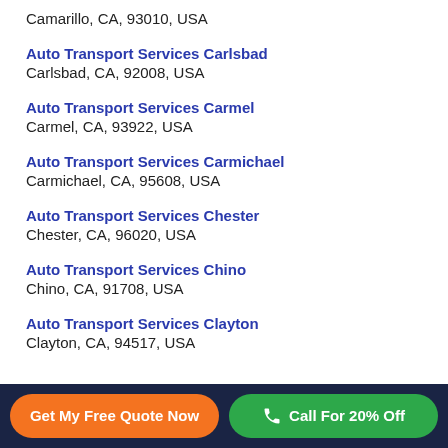Camarillo, CA, 93010, USA
Auto Transport Services Carlsbad
Carlsbad, CA, 92008, USA
Auto Transport Services Carmel
Carmel, CA, 93922, USA
Auto Transport Services Carmichael
Carmichael, CA, 95608, USA
Auto Transport Services Chester
Chester, CA, 96020, USA
Auto Transport Services Chino
Chino, CA, 91708, USA
Auto Transport Services Clayton
Clayton, CA, 94517, USA
Get My Free Quote Now | Call For 20% Off